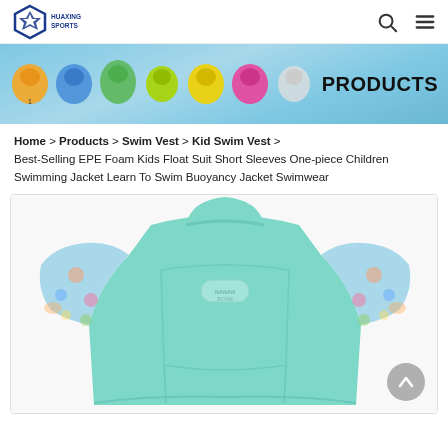HUAXING SPORTS
[Figure (photo): Banner showing various colorful children swim vests/life jackets on a blue water background with the label PRODUCTS]
Home > Products > Swim Vest > Kid Swim Vest > Best-Selling EPE Foam Kids Float Suit Short Sleeves One-piece Children Swimming Jacket Learn To Swim Buoyancy Jacket Swimwear
[Figure (photo): A light blue/teal children's buoyancy swimsuit jacket with short patterned sleeves featuring cartoon sea characters, laid flat on a white background. Small brand logo visible on the chest.]